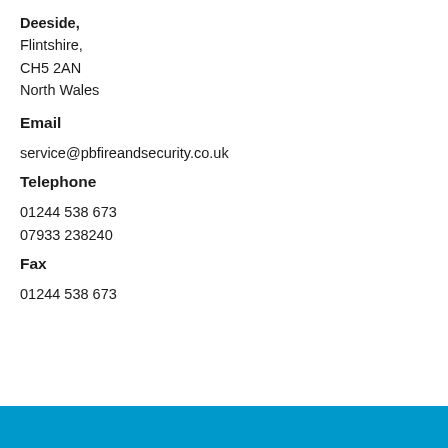Deeside, Flintshire, CH5 2AN North Wales
Email
service@pbfireandsecurity.co.uk
Telephone
01244 538 673
07933 238240
Fax
01244 538 673